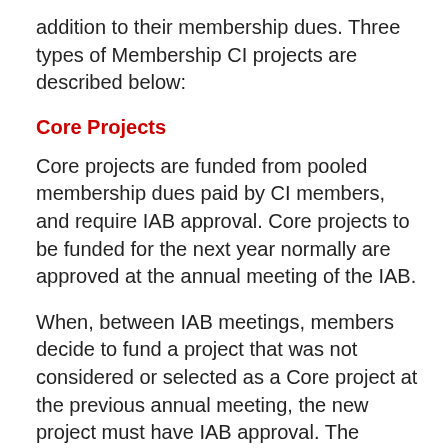addition to their membership dues. Three types of Membership CI projects are described below:
Core Projects
Core projects are funded from pooled membership dues paid by CI members, and require IAB approval. Core projects to be funded for the next year normally are approved at the annual meeting of the IAB.
When, between IAB meetings, members decide to fund a project that was not considered or selected as a Core project at the previous annual meeting, the new project must have IAB approval. The approval of new projects may be obtained by e-mail balloting between IAB meetings, and if approved, the new project would become an additional Core project